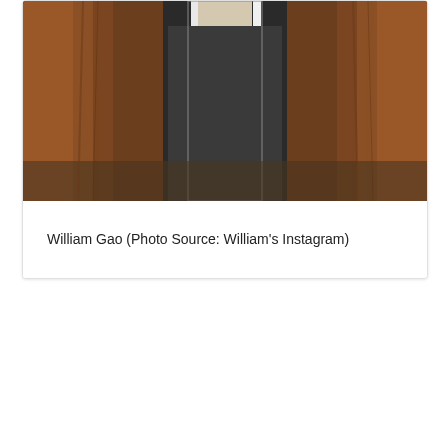[Figure (photo): Photo of William Gao wearing a brown fur coat and a striped scarf, photographed outdoors]
William Gao (Photo Source: William's Instagram)